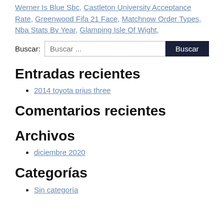Werner Is Blue Sbc, Castleton University Acceptance Rate, Greenwood Fifa 21 Face, Matchnow Order Types, Nba Stats By Year, Glamping Isle Of Wight,
Buscar: [search input] Buscar
Entradas recientes
2014 toyota prius three
Comentarios recientes
Archivos
diciembre 2020
Categorías
Sin categoría